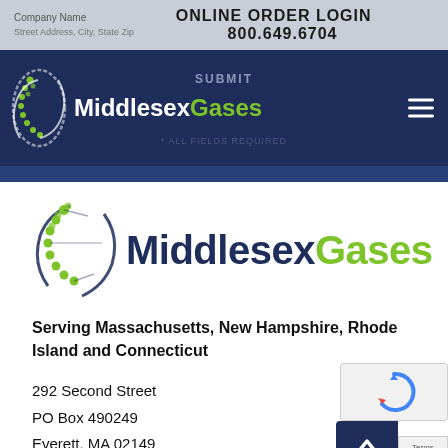ONLINE ORDER LOGIN  800.649.6704
[Figure (logo): Middlesex Gases logo in navy navigation bar with green DNA helix icon, SUBMIT label, and * ALL FIELDS REQUIRED text]
[Figure (logo): Middlesex Gases large logo with green DNA double helix swirl icon and company name in navy and green]
Serving Massachusetts, New Hampshire, Rhode Island and Connecticut
292 Second Street
PO Box 490249
Everett, MA 02149